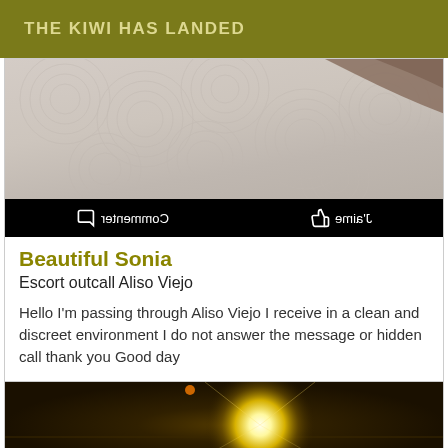THE KIWI HAS LANDED
[Figure (photo): Close-up photo of fabric or paper with circular patterns, with a dark thumb/finger visible at top right, and a black social bar at bottom showing mirrored French text 'Commenter' and 'J'aime' with icons]
Beautiful Sonia
Escort outcall Aliso Viejo
Hello I'm passing through Aliso Viejo I receive in a clean and discreet environment I do not answer the message or hidden call thank you Good day
[Figure (photo): Dark photo with bright yellow-white light burst/lens flare in the center against a dark brown background]